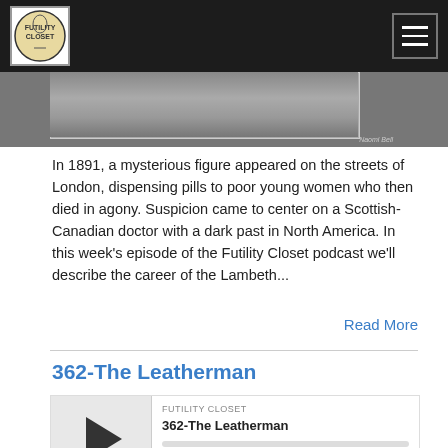Futility Closet - navigation bar with logo and menu
[Figure (photo): A cropped historical photograph with a caption, partially visible at top of page]
In 1891, a mysterious figure appeared on the streets of London, dispensing pills to poor young women who then died in agony. Suspicion came to center on a Scottish-Canadian doctor with a dark past in North America. In this week's episode of the Futility Closet podcast we'll describe the career of the Lambeth...
Read More
362-The Leatherman
[Figure (other): Audio player widget for episode 362-The Leatherman by Futility Closet, showing play button, progress bar, and playback controls including time 00:00:00, RSS, download, embed, and accessibility icons]